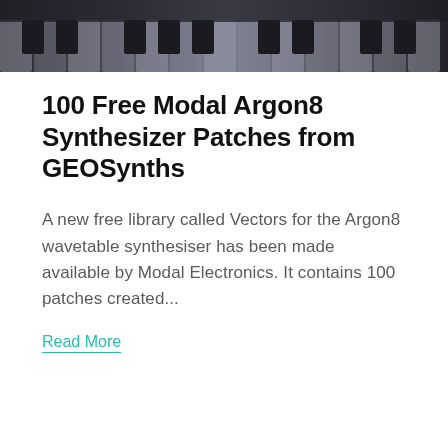[Figure (photo): Close-up photo of piano/synthesizer keys in dark, moody lighting with grey and dark tones]
100 Free Modal Argon8 Synthesizer Patches from GEOSynths
A new free library called Vectors for the Argon8 wavetable synthesiser has been made available by Modal Electronics. It contains 100 patches created...
Read More